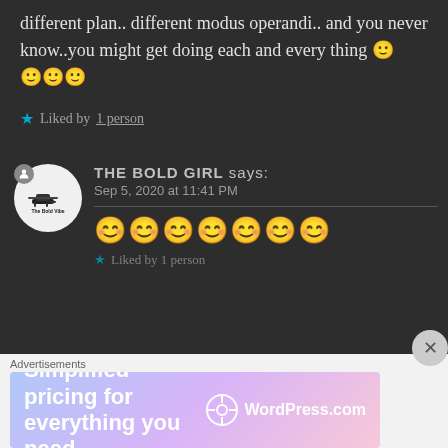different plan.. different modus operandi.. and you never know..you might get doing each and every thing 🙂🙂🙂🙂
★ Liked by 1 person
THE BOLD GIRL says: Sep 5, 2020 at 11:41 PM
😊😊😊😊😊😊😊
★ Liked by 1 person
[Figure (other): WordPress.com advertisement banner: 'Simplified pricing for everything you need.' with WordPress.com logo]